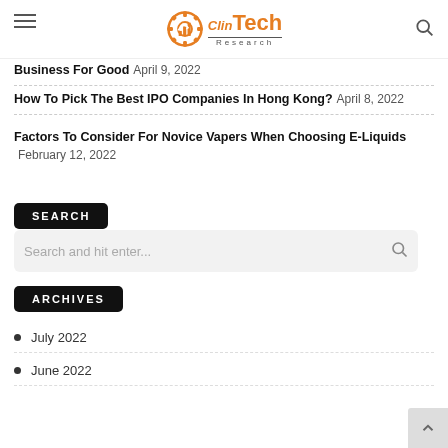ClinTech Research
Business For Good  April 9, 2022
How To Pick The Best IPO Companies In Hong Kong?  April 8, 2022
Factors To Consider For Novice Vapers When Choosing E-Liquids  February 12, 2022
SEARCH
Search and hit enter...
ARCHIVES
July 2022
June 2022